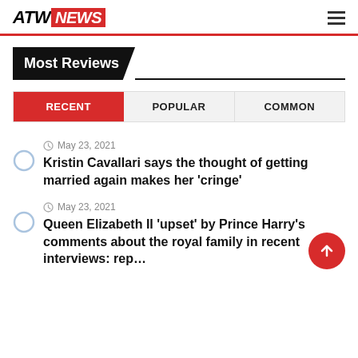ATW NEWS
Most Reviews
RECENT | POPULAR | COMMON
May 23, 2021 — Kristin Cavallari says the thought of getting married again makes her 'cringe'
May 23, 2021 — Queen Elizabeth II 'upset' by Prince Harry's comments about the royal family in recent interviews: rep…